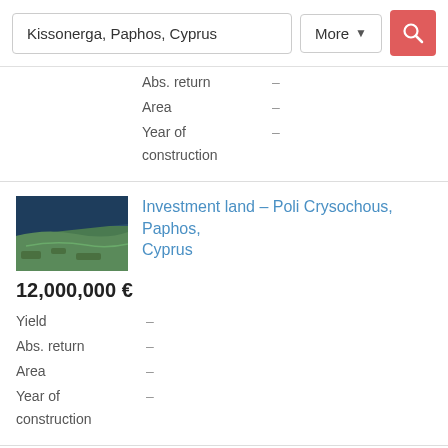Kissonerga, Paphos, Cyprus | More | [search button]
Abs. return —
Area —
Year of construction —
Investment land – Poli Crysochous, Paphos, Cyprus
12,000,000 €
Yield —
Abs. return —
Area —
Year of construction —
For sale restaurant in Paphos, Coral Bay
1,100,000 €